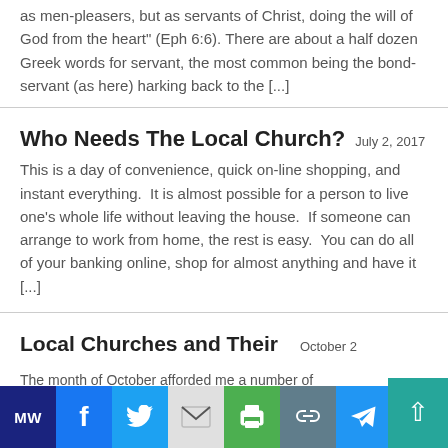as men-pleasers, but as servants of Christ, doing the will of God from the heart" (Eph 6:6). There are about a half dozen Greek words for servant, the most common being the bond-servant (as here) harking back to the [...]
Who Needs The Local Church?
July 2, 2017
This is a day of convenience, quick on-line shopping, and instant everything. It is almost possible for a person to live one's whole life without leaving the house. If someone can arrange to work from home, the rest is easy. You can do all of your banking online, shop for almost anything and have it [...]
Local Churches and Their
October 2
The month of October afforded me a number of